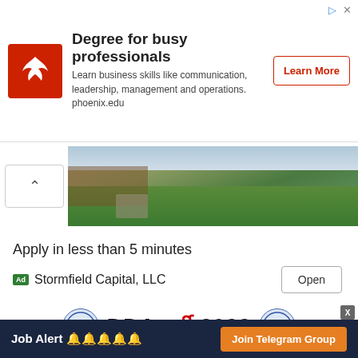[Figure (infographic): Advertisement banner: University of Phoenix logo (red square with white phoenix bird), heading 'Degree for busy professionals', body text 'Learn business skills like communication, leadership, management and operations. phoenix.edu', and a 'Learn More' button with red border. Top-right has arrow and X icons.]
[Figure (photo): Landscape photo showing a residential garden with wooden fence, stone pathway, green lawn, and shrubs/trees in background.]
Apply in less than 5 minutes
Ad  Stormfield Capital, LLC
[Figure (infographic): DDA भर्ती 2022 text with two circular DDA (Delhi Development Authority) logos on either side. 'DDA' and '2022' in black bold, 'भर्ती' in red bold.]
Job Alert 🔔🔔🔔🔔🔔   Join Telegram Group